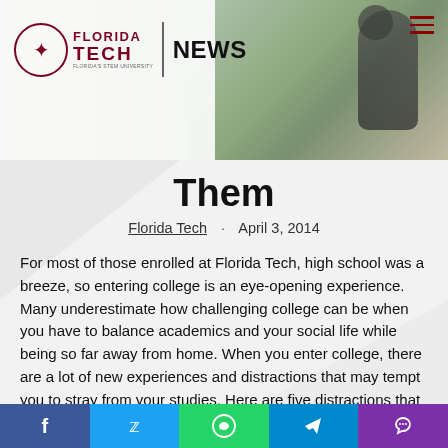[Figure (screenshot): Florida Tech News website header with logo and campus photo background showing a statue and greenery]
Them
Florida Tech · April 3, 2014
For most of those enrolled at Florida Tech, high school was a breeze, so entering college is an eye-opening experience. Many underestimate how challenging college can be when you have to balance academics and your social life while being so far away from home. When you enter college, there are a lot of new experiences and distractions that may tempt you to stray from your studies. Here are five distractions that are common for Florida Tech freshmen and how to avoid letting them affect your school work:
[Figure (infographic): Social media sharing bar with Facebook, Twitter, WhatsApp, Telegram, and phone icons]